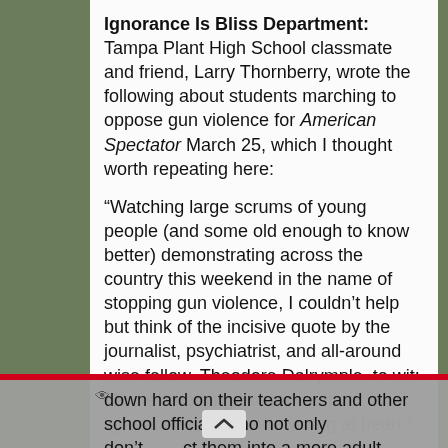Ignorance Is Bliss Department: Tampa Plant High School classmate and friend, Larry Thornberry, wrote the following about students marching to oppose gun violence for American Spectator March 25, which I thought worth repeating here:

“Watching large scrums of young people (and some old enough to know better) demonstrating across the country this weekend in the name of stopping gun violence, I couldn’t help but think of the incisive quote by the journalist, psychiatrist, and all-around wise fellow, Theodore Dalrymple, to wit: “There’s nothing like passionate ignorance to keep one young at heart.”

One can be sympathetic with the fear some students feel about the vulnerability they face from gun-toting monsters like Nikolas Cruz without excusing their blissful ignorance about the pointless nostrums they’re whooping up fortissimo, threatening to hold their breath until grownups do what they demand. And one can come down hard on their teachers and other school officials who not only don’t act them into a more adult understanding and approach to a more real…